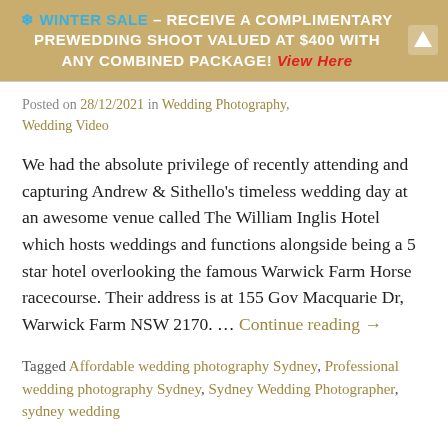❄ WINTER SALE – RECEIVE A COMPLIMENTARY PREWEDDING SHOOT VALUED AT $400 WITH ANY COMBINED PACKAGE! View Here
Posted on 28/12/2021 in Wedding Photography, Wedding Video
We had the absolute privilege of recently attending and capturing Andrew & Sithello's timeless wedding day at an awesome venue called The William Inglis Hotel which hosts weddings and functions alongside being a 5 star hotel overlooking the famous Warwick Farm Horse racecourse. Their address is at 155 Gov Macquarie Dr, Warwick Farm NSW 2170. … Continue reading →
Tagged Affordable wedding photography Sydney, Professional wedding photography Sydney, Sydney Wedding Photographer, sydney wedding